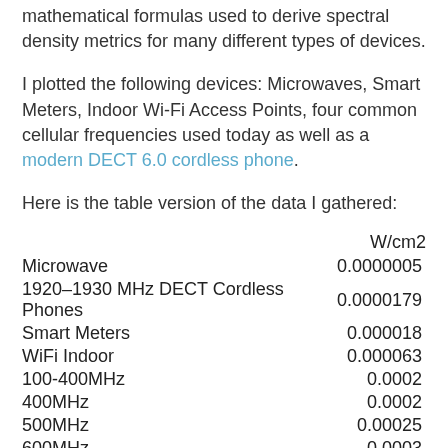mathematical formulas used to derive spectral density metrics for many different types of devices.
I plotted the following devices: Microwaves, Smart Meters, Indoor Wi-Fi Access Points, four common cellular frequencies used today as well as a modern DECT 6.0 cordless phone.
Here is the table version of the data I gathered:
|  | W/cm2 |
| --- | --- |
| Microwave | 0.0000005 |
| 1920–1930 MHz DECT Cordless Phones | 0.0000179 |
| Smart Meters | 0.000018 |
| WiFi Indoor | 0.000063 |
| 100-400MHz | 0.0002 |
| 400MHz | 0.0002 |
| 500MHz | 0.00025 |
| 600MHz | 0.0003 |
| T Mobile, Verizon, AT&T 700MHz | 0.00035 |